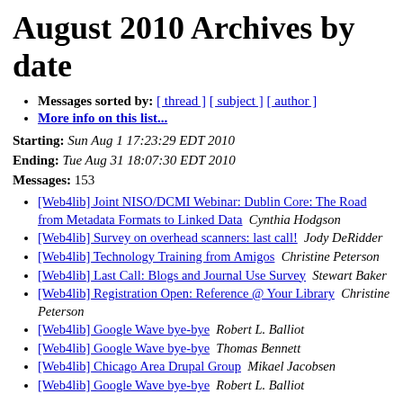August 2010 Archives by date
Messages sorted by: [ thread ] [ subject ] [ author ]
More info on this list...
Starting: Sun Aug 1 17:23:29 EDT 2010
Ending: Tue Aug 31 18:07:30 EDT 2010
Messages: 153
[Web4lib] Joint NISO/DCMI Webinar: Dublin Core: The Road from Metadata Formats to Linked Data  Cynthia Hodgson
[Web4lib] Survey on overhead scanners: last call!  Jody DeRidder
[Web4lib] Technology Training from Amigos  Christine Peterson
[Web4lib] Last Call: Blogs and Journal Use Survey  Stewart Baker
[Web4lib] Registration Open: Reference @ Your Library  Christine Peterson
[Web4lib] Google Wave bye-bye  Robert L. Balliot
[Web4lib] Google Wave bye-bye  Thomas Bennett
[Web4lib] Chicago Area Drupal Group  Mikael Jacobsen
[Web4lib] Google Wave bye-bye  Robert L. Balliot